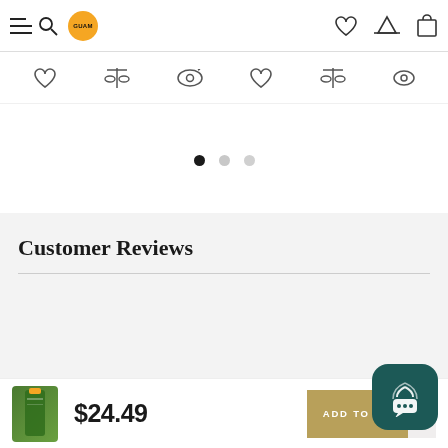GUAM — e-commerce product page header with navigation icons
[Figure (screenshot): Icon toolbar row with heart, scale, eye, heart, scale, eye icons]
[Figure (screenshot): Carousel pagination dots: one active (black), two inactive (grey)]
Customer Reviews
$24.49
[Figure (photo): Small product thumbnail - green bottle/spray product]
ADD TO CART
[Figure (screenshot): Chat/support widget button with wifi-like icon and speech bubble dots]